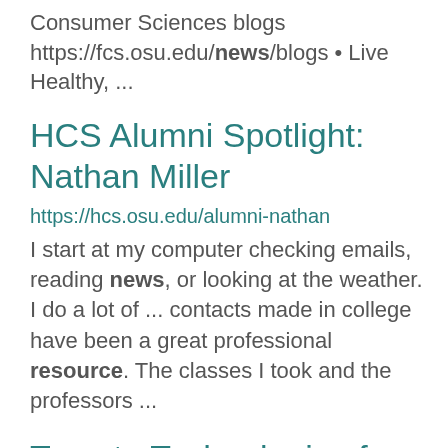Consumer Sciences blogs https://fcs.osu.edu/news/blogs • Live Healthy, ...
HCS Alumni Spotlight: Nathan Miller
https://hcs.osu.edu/alumni-nathan
I start at my computer checking emails, reading news, or looking at the weather. I do a lot of ... contacts made in college have been a great professional resource. The classes I took and the professors ...
Tomato Technologies for